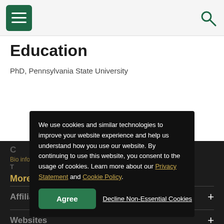Menu / Search navigation bar
Education
PhD, Pennsylvania State University
We use cookies and similar technologies to improve your website experience and help us understand how you use our website. By continuing to use this website, you consent to the usage of cookies. Learn more about our Privacy Statement and Cookie Policy.
Affiliations +
Websites +